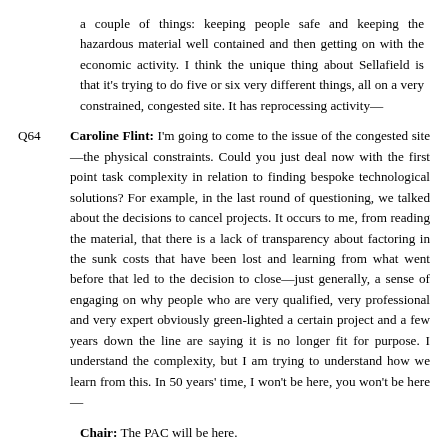a couple of things: keeping people safe and keeping the hazardous material well contained and then getting on with the economic activity. I think the unique thing about Sellafield is that it's trying to do five or six very different things, all on a very constrained, congested site. It has reprocessing activity—
Q64 Caroline Flint: I'm going to come to the issue of the congested site—the physical constraints. Could you just deal now with the first point task complexity in relation to finding bespoke technological solutions? For example, in the last round of questioning, we talked about the decisions to cancel projects. It occurs to me, from reading the material, that there is a lack of transparency about factoring in the sunk costs that have been lost and learning from what went before that led to the decision to close—just generally, a sense of engaging on why people who are very qualified, very professional and very expert obviously green-lighted a certain project and a few years down the line are saying it is no longer fit for purpose. I understand the complexity, but I am trying to understand how we learn from this. In 50 years' time, I won't be here, you won't be here —
Chair: The PAC will be here.